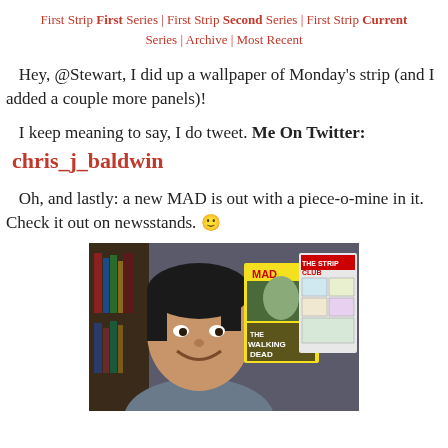First Strip First Series | First Strip Second Series | First Strip Current Series | Archive | Most Recent
Hey, @Stewart, I did up a wallpaper of Monday's strip (and I added a couple more panels)!
I keep meaning to say, I do tweet. Me On Twitter: chris_j_baldwin
Oh, and lastly: a new MAD is out with a piece-o-mine in it. Check it out on newsstands. 🙂
[Figure (photo): Photo of a man smiling holding up a MAD magazine and another magazine titled 'The Strip Club', with 'The Walking Dead' visible on the MAD cover.]